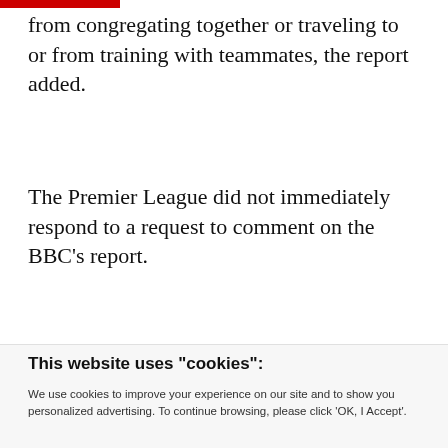from congregating together or traveling to or from training with teammates, the report added.
The Premier League did not immediately respond to a request to comment on the BBC’s report.
This website uses "cookies":
We use cookies to improve your experience on our site and to show you personalized advertising. To continue browsing, please click ‘OK, I Accept’.
For more information, please read our Privacy Policy
Ok, I Accept